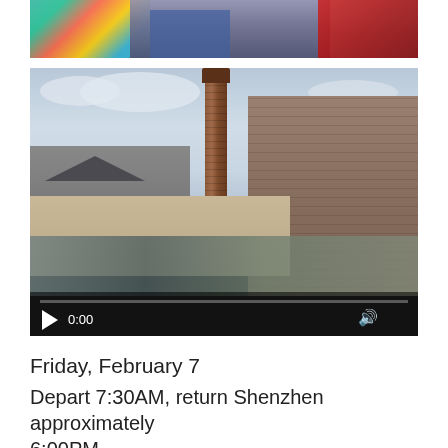[Figure (photo): Partial photo at top showing colorful lion dance costumes and people seated, cropped at bottom]
[Figure (screenshot): Video player showing a Chinese historic building complex with a tall brick chimney and traditional pagoda-style roofs. Video controls overlay at bottom showing 0:00 timestamp, play button, and volume icon. Progress bar at bottom.]
Friday, February 7
Depart 7:30AM, return Shenzhen approximately 6:00PM